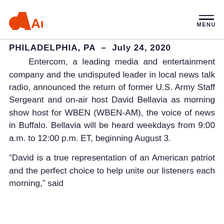[Figure (logo): Audacy logo with orange circle and check-mark symbol followed by 'Audacy' in orange text]
MENU
PHILADELPHIA, PA  –  July 24, 2020
Entercom, a leading media and entertainment company and the undisputed leader in local news talk radio, announced the return of former U.S. Army Staff Sergeant and on-air host David Bellavia as morning show host for WBEN (WBEN-AM), the voice of news in Buffalo. Bellavia will be heard weekdays from 9:00 a.m. to 12:00 p.m. ET, beginning August 3.
“David is a true representation of an American patriot and the perfect choice to help unite our listeners each morning,” said